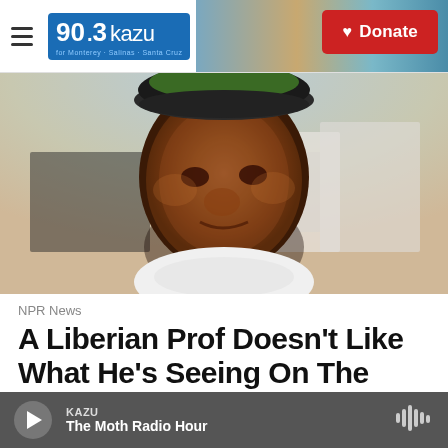90.3 KAZU | Donate
[Figure (photo): Close-up portrait of a man wearing a green baseball cap and white shirt, smiling slightly, with a blurred background]
NPR News
A Liberian Prof Doesn't Like What He's Seeing On The News Blackboard
Didrik Schanche, December 12, 2014
KAZU | The Moth Radio Hour